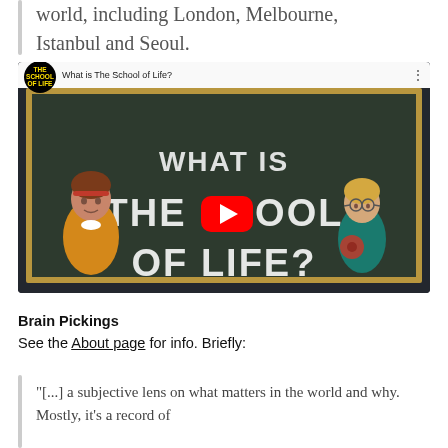world, including London, Melbourne, Istanbul and Seoul.
[Figure (screenshot): YouTube video thumbnail for 'What is The School of Life?' showing illustrated characters on a chalkboard background with YouTube play button overlay and the text 'WHAT IS THE SCHOOL OF LIFE?']
Brain Pickings
See the About page for info. Briefly:
"[...] a subjective lens on what matters in the world and why. Mostly, it's a record of